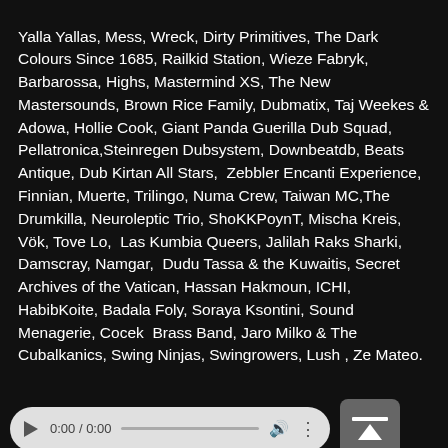Yalla Yallas, Mess, Wreck, Dirty Primitives, The Dark Colours Since 1685, Railkid Station, Wieze Fabryk, Barbarossa, Highs, Mastermind XS, The New Mastersounds, Brown Rice Family, Dubmatix, Taj Weekes & Adowa, Hollie Cook, Giant Panda Guerilla Dub Squad, Pellatronica,Steinregen Dubsystem, Downbeatdb, Beats Antique, Dub Kirtan All Stars, Zebbler Encanti Experience, Finnian, Muerte, Trilingo, Numa Crew, Taiwan MC,The Drumkilla, Neuroleptic Trio, ShoKKPoynT, Mischa Kreis, Vök, Tove Lo, Las Kumbia Queers, Jalilah Raks Sharki, Damscray, Namgar, Dudu Tassa & the Kuwaitis, Secret Archives of the Vatican, Hassan Hakmoun, ICHI, HabibKoite, Badala Foly, Soraya Ksontini, Sound Menagerie, Cocek Brass Band, Jaro Milko & The Cubalkanics, Swing Ninjas, Swingrowers, Lush , Ze Mateo.
[Figure (other): Audio player with play button, 0:00 / 0:00 timestamp, progress bar, volume icon, and more options dots. An upload/scroll-to-top button is to the right.]
This website uses cookies to improve your experience. We'll assume you're ok with this, but you can opt-out if you wish.
Cookie settings    ACCEPT